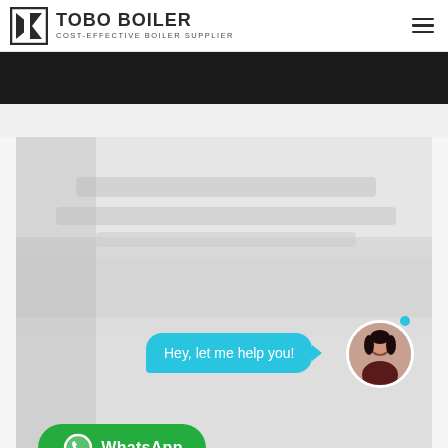[Figure (logo): TOBO BOILER logo with icon and text 'COST-EFFECTIVE BOILER SUPPLIER']
[Figure (photo): Blurred industrial/boiler room background image with chat UI overlay: cyan speech bubble saying 'Hey, let me help you!', circular avatar of a woman, and a green WhatsApp button]